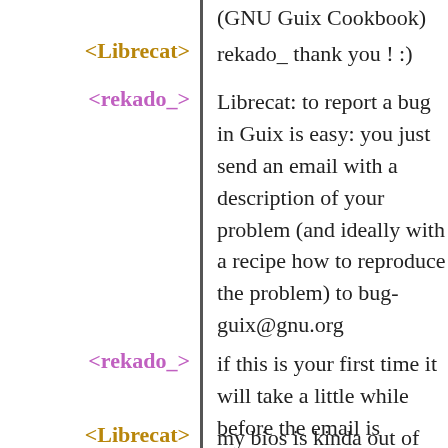(GNU Guix Cookbook)
<Librecat> rekado_ thank you ! :)
<rekado_> Librecat: to report a bug in Guix is easy: you just send an email with a description of your problem (and ideally with a recipe how to reproduce the problem) to bug-guix@gnu.org
<rekado_> if this is your first time it will take a little while before the email is accepted
<Librecat> my bios is kinda out of